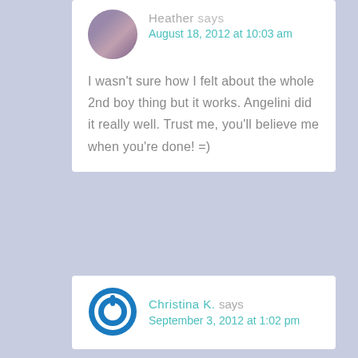Heather says August 18, 2012 at 10:03 am
I wasn't sure how I felt about the whole 2nd boy thing but it works. Angelini did it really well. Trust me, you'll believe me when you're done! =)
Christina K. says September 3, 2012 at 1:02 pm